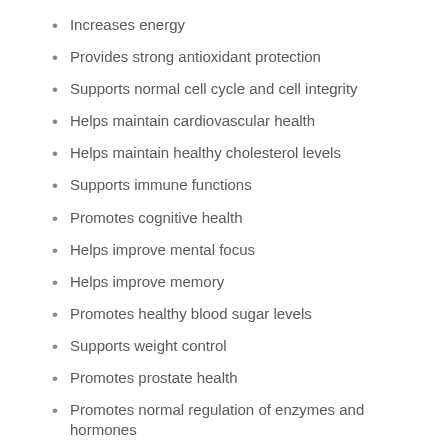Increases energy
Provides strong antioxidant protection
Supports normal cell cycle and cell integrity
Helps maintain cardiovascular health
Helps maintain healthy cholesterol levels
Supports immune functions
Promotes cognitive health
Helps improve mental focus
Helps improve memory
Promotes healthy blood sugar levels
Supports weight control
Promotes prostate health
Promotes normal regulation of enzymes and hormones
PRODUCT CLASSIFICATIONS